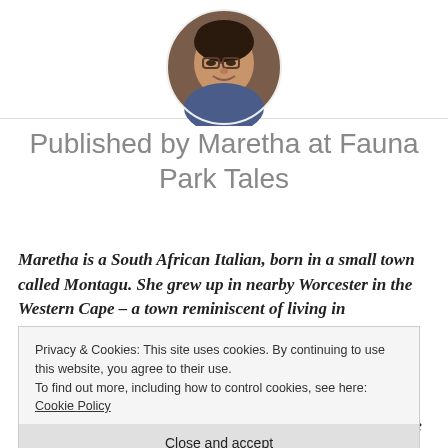[Figure (photo): Circular cropped portrait photo of a woman with glasses, smiling, wearing a colorful top, with a dark background.]
Published by Maretha at Fauna Park Tales
Maretha is a South African Italian, born in a small town called Montagu. She grew up in nearby Worcester in the Western Cape – a town reminiscent of living in Switzerland among the snow-capped
Privacy & Cookies: This site uses cookies. By continuing to use this website, you agree to their use.
To find out more, including how to control cookies, see here: Cookie Policy
[Close and accept]
confirmed bookworm who constantly strives to raise more